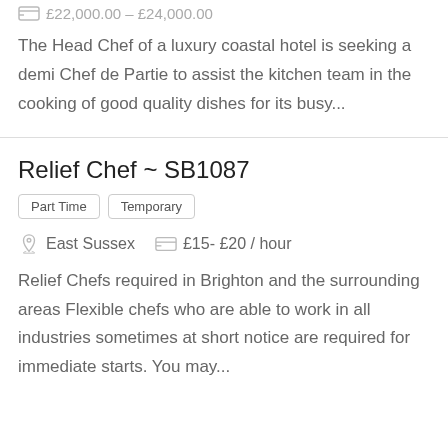£22,000.00 – £24,000.00
The Head Chef of a luxury coastal hotel is seeking a demi Chef de Partie to assist the kitchen team in the cooking of good quality dishes for its busy...
Relief Chef ~ SB1087
Part Time
Temporary
East Sussex   £15- £20 / hour
Relief Chefs required in Brighton and the surrounding areas Flexible chefs who are able to work in all industries sometimes at short notice are required for immediate starts. You may...